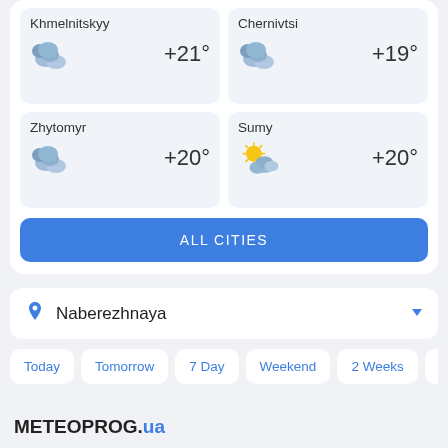Khmelnitskyy
+21°
Chernivtsi
+19°
Zhytomyr
+20°
Sumy
+20°
ALL CITIES
Naberezhnaya
Today
Tomorrow
7 Day
Weekend
2 Weeks
M
METEOPROG.ua